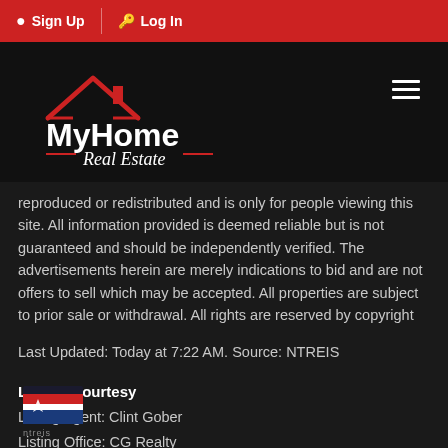Sign Up | Log In
[Figure (logo): MyHome Real Estate logo with house icon on dark background]
reproduced or redistributed and is only for people viewing this site. All information provided is deemed reliable but is not guaranteed and should be independently verified. The advertisements herein are merely indications to bid and are not offers to sell which may be accepted. All properties are subject to prior sale or withdrawal. All rights are reserved by copyright
Last Updated: Today at 7:22 AM. Source: NTREIS
Listing Courtesy
Listing Agent: Clint Gober
Listing Office: CG Realty
[Figure (logo): NTREIS logo]